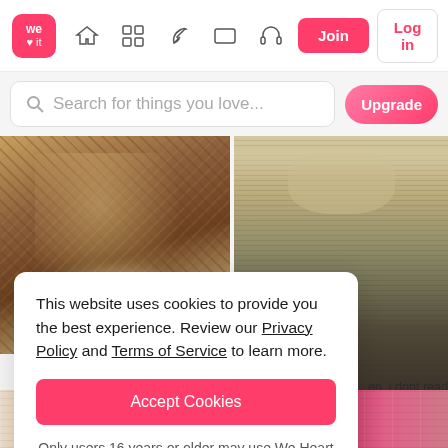[Figure (screenshot): We Heart It website navigation bar with logo, icons (home, grid, feather, rectangle, headphones), Join button and Log in button]
[Figure (screenshot): Search bar with placeholder 'Search for things you love...' and pink Upgrade button]
[Figure (photo): Close-up photo of bridal jewelry and embroidered fabric]
[Figure (photo): Person standing wearing a long dark skirt viewed from behind]
This website uses cookies to provide you the best experience. Review our Privacy Policy and Terms of Service to learn more.
Accept Cookies
Only users 16 years or older may use We Heart It.
en. i dont read a lot of ark's novel cause i don't all that cheesy stuff didn't f not my favorite couple in ritte that you feel like you t book.
[Figure (photo): Bottom strip showing colorful traditional/ethnic fabric and clothing]